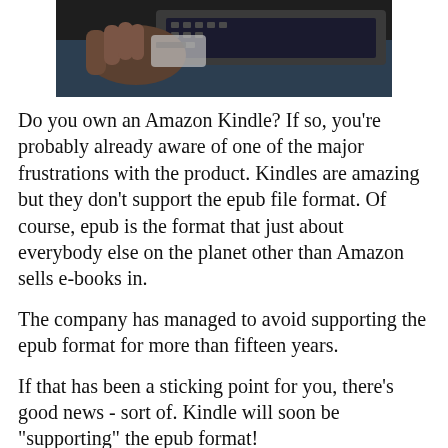[Figure (photo): Hands using a laptop/tablet device, dark background, cropped image showing top portion]
Do you own an Amazon Kindle?  If so, you're probably already aware of one of the major frustrations with the product.  Kindles are amazing but they don't support the epub file format. Of course, epub is  the format that just about everybody else on the planet other than Amazon sells e-books in.
The company has managed to avoid supporting the epub format for more than fifteen years.
If that has been a sticking point for you, there's good news - sort of.  Kindle will soon be "supporting" the epub format!
We say sort of, and use "supporting" in quotes because although it would be easy for the company to simply enable their ubiquitous readers to support epub, that's not actually what the company has planned.  Instead, Amazon will issue an update to Kindles that will allow